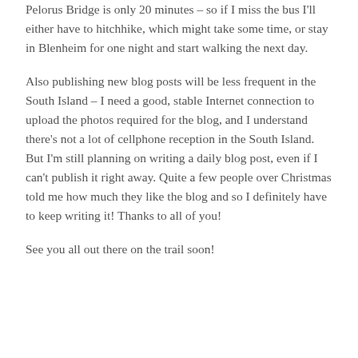Pelorus Bridge is only 20 minutes – so if I miss the bus I'll either have to hitchhike, which might take some time, or stay in Blenheim for one night and start walking the next day.
Also publishing new blog posts will be less frequent in the South Island – I need a good, stable Internet connection to upload the photos required for the blog, and I understand there's not a lot of cellphone reception in the South Island. But I'm still planning on writing a daily blog post, even if I can't publish it right away. Quite a few people over Christmas told me how much they like the blog and so I definitely have to keep writing it! Thanks to all of you!
See you all out there on the trail soon!